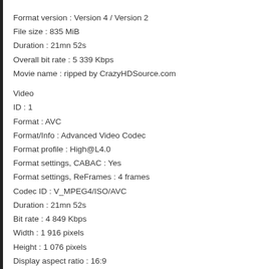Format version : Version 4 / Version 2
File size : 835 MiB
Duration : 21mn 52s
Overall bit rate : 5 339 Kbps
Movie name : ripped by CrazyHDSource.com
Video
ID : 1
Format : AVC
Format/Info : Advanced Video Codec
Format profile : High@L4.0
Format settings, CABAC : Yes
Format settings, ReFrames : 4 frames
Codec ID : V_MPEG4/ISO/AVC
Duration : 21mn 52s
Bit rate : 4 849 Kbps
Width : 1 916 pixels
Height : 1 076 pixels
Display aspect ratio : 16:9
Frame rate mode : Constant
Frame rate : 23.976 fps
Color space : YUV
Chroma subsampling : 4:2:0